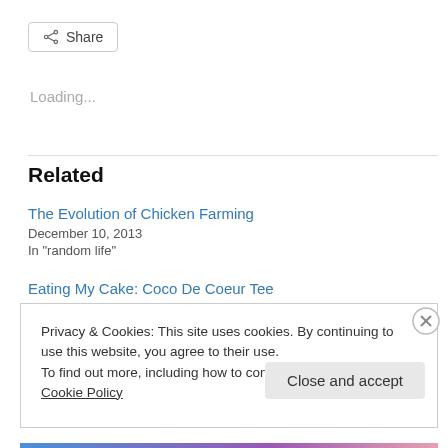[Figure (other): Share button with share icon]
Loading...
Related
The Evolution of Chicken Farming
December 10, 2013
In "random life"
Eating My Cake: Coco De Coeur Tee
Privacy & Cookies: This site uses cookies. By continuing to use this website, you agree to their use.
To find out more, including how to control cookies, see here: Cookie Policy
Close and accept